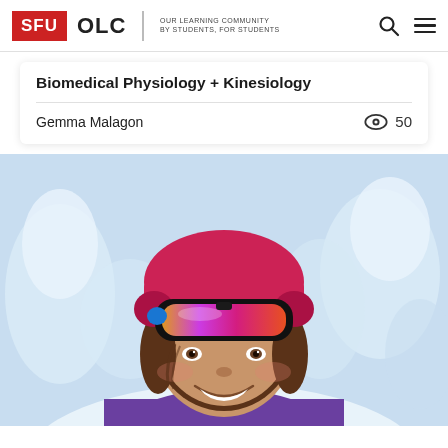SFU OLC | OUR LEARNING COMMUNITY BY STUDENTS, FOR STUDENTS
Biomedical Physiology + Kinesiology
Gemma Malagon
50
[Figure (photo): Close-up photo of a smiling young woman wearing a pink and orange ski helmet with colorful goggles pushed up, outdoors in a snowy winter setting with snow-covered trees in the background, wearing a purple jacket.]